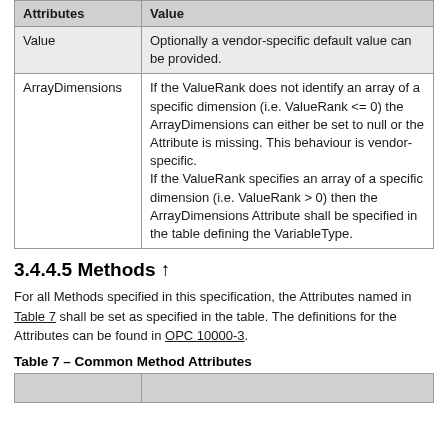| Attributes | Value |
| --- | --- |
| Value | Optionally a vendor-specific default value can be provided. |
| ArrayDimensions | If the ValueRank does not identify an array of a specific dimension (i.e. ValueRank <= 0) the ArrayDimensions can either be set to null or the Attribute is missing. This behaviour is vendor-specific.
If the ValueRank specifies an array of a specific dimension (i.e. ValueRank > 0) then the ArrayDimensions Attribute shall be specified in the table defining the VariableType. |
3.4.4.5 Methods ↑
For all Methods specified in this specification, the Attributes named in Table 7 shall be set as specified in the table. The definitions for the Attributes can be found in OPC 10000-3.
Table 7 – Common Method Attributes
|  |